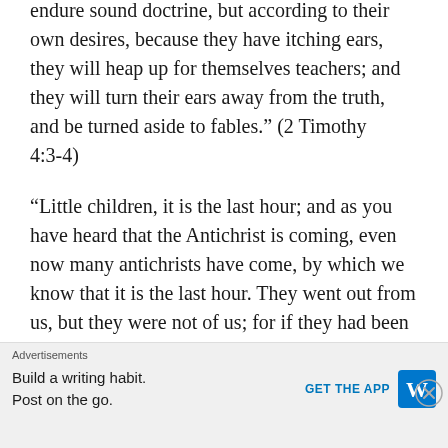endure sound doctrine, but according to their own desires, because they have itching ears, they will heap up for themselves teachers; and they will turn their ears away from the truth, and be turned aside to fables.” (2 Timothy 4:3-4)
“Little children, it is the last hour; and as you have heard that the Antichrist is coming, even now many antichrists have come, by which we know that it is the last hour. They went out from us, but they were not of us; for if they had been of us, they would have continued with us; but they went out that they might be made manifest, that none of them were of us.” (1 John
Advertisements
Build a writing habit. Post on the go. GET THE APP